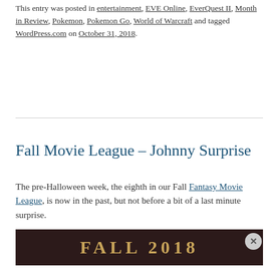This entry was posted in entertainment, EVE Online, EverQuest II, Month in Review, Pokemon, Pokemon Go, World of Warcraft and tagged WordPress.com on October 31, 2018.
Fall Movie League – Johnny Surprise
The pre-Halloween week, the eighth in our Fall Fantasy Movie League, is now in the past, but not before a bit of a last minute surprise.
[Figure (other): Dark banner image with gold text reading 'FALL 2018']